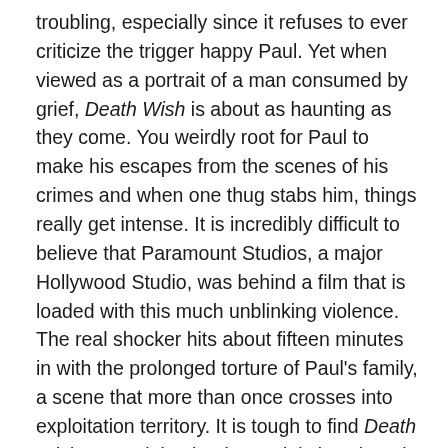troubling, especially since it refuses to ever criticize the trigger happy Paul. Yet when viewed as a portrait of a man consumed by grief, Death Wish is about as haunting as they come. You weirdly root for Paul to make his escapes from the scenes of his crimes and when one thug stabs him, things really get intense. It is incredibly difficult to believe that Paramount Studios, a major Hollywood Studio, was behind a film that is loaded with this much unblinking violence. The real shocker hits about fifteen minutes in with the prolonged torture of Paul's family, a scene that more than once crosses into exploitation territory. It is tough to find Death Wish entertaining but it certainly is a thought provoking reflection of the violence in all of us that you can't pull yourself away from. A gritty and unforgiving vision that I would certainly consider one of the most disturbing movies you are ever likely to see.